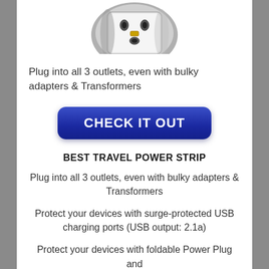[Figure (photo): Photo of a travel power strip electrical plug adapter, showing front face with outlets, partially cropped at top]
Plug into all 3 outlets, even with bulky adapters & Transformers
[Figure (other): Blue rounded-rectangle button with white bold text reading CHECK IT OUT]
BEST TRAVEL POWER STRIP
Plug into all 3 outlets, even with bulky adapters & Transformers
Protect your devices with surge-protected USB charging ports (USB output: 2.1a)
Protect your devices with foldable Power Plug and